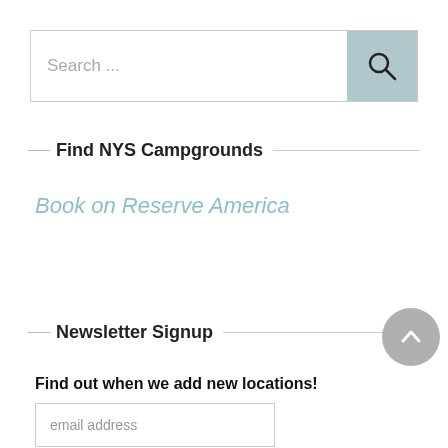[Figure (screenshot): Search bar with text 'Search ...' and a teal search button with magnifying glass icon]
Find NYS Campgrounds
Book on Reserve America
Newsletter Signup
Find out when we add new locations!
email address